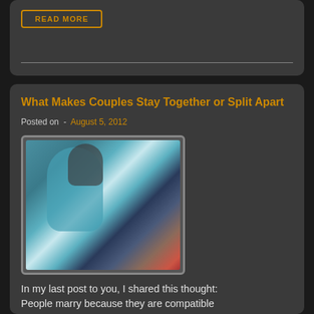READ MORE
What Makes Couples Stay Together or Split Apart
Posted on  -  August 5, 2012
[Figure (photo): A couple dancing or embracing on a red carpet event, woman in teal/turquoise dress]
In my last post to you, I shared this thought: People marry because they are compatible